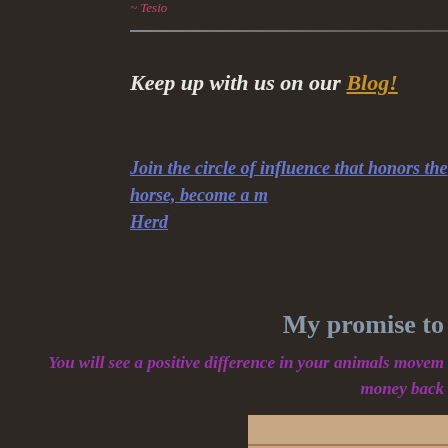~ Tesio
Keep up with us on our Blog!
Join the circle of influence that honors the horse, become a member of the Herd
My promise to
You will see a positive difference in your animals movem... money back...
[Figure (illustration): Cartoon illustration of a person riding a running horse near a barn]